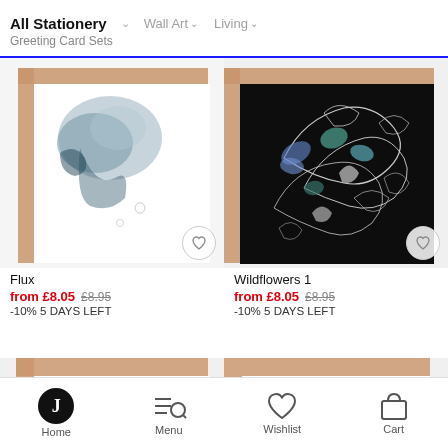All Stationery ∨   Wall Art ∨   Living ∨
Greeting Card Sets
[Figure (photo): Flux greeting card product image with kraft paper frame and watercolor ink blot on white]
Flux
from £8.05 £8.95
-10% 5 DAYS LEFT
[Figure (photo): Wildflowers 1 greeting card product image with kraft paper frame and dark floral illustration on black background]
Wildflowers 1
from £8.05 £8.95
-10% 5 DAYS LEFT
[Figure (photo): Partially visible greeting card with blue watercolor ink artwork and kraft frame]
[Figure (photo): Partially visible greeting card with amber/orange watercolor ink artwork and kraft frame]
Home   Menu   Wishlist   Cart